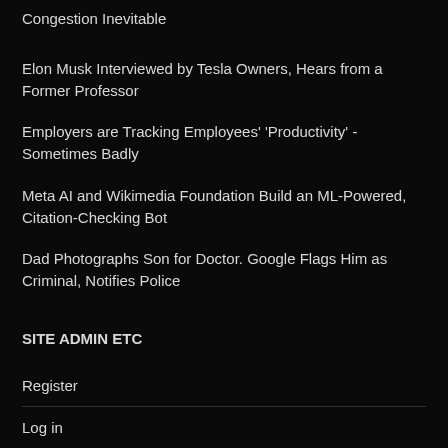Congestion Inevitable
Elon Musk Interviewed by Tesla Owners, Hears from a Former Professor
Employers are Tracking Employees' 'Productivity' - Sometimes Badly
Meta AI and Wikimedia Foundation Build an ML-Powered, Citation-Checking Bot
Dad Photographs Son for Doctor. Google Flags Him as Criminal, Notifies Police
SITE ADMIN ETC
Register
Log in
Entries feed
Comments feed